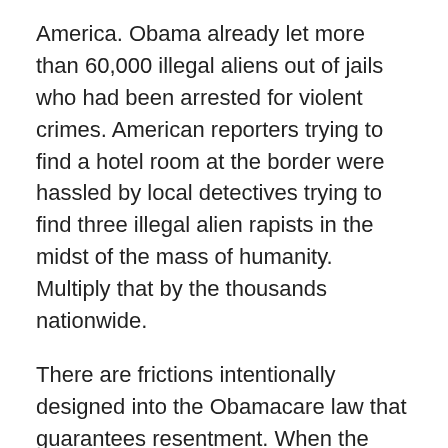America. Obama already let more than 60,000 illegal aliens out of jails who had been arrested for violent crimes. American reporters trying to find a hotel room at the border were hassled by local detectives trying to find three illegal alien rapists in the midst of the mass of humanity. Multiply that by the thousands nationwide.
There are frictions intentionally designed into the Obamacare law that guarantees resentment. When the illegal aliens are legalized, their employers will be given thousands of dollars in healthcare subsidies. The employers will have cash incentives to hire the former illegals and work them 38 to 40 hours a week while cutting back on the hours of Native Born Americans. Native Born Americans under 55 have 4.9 million fewer jobs today than in 2007. Cutting back on their wages at a time when the government is contributing to skyrocketing price increases